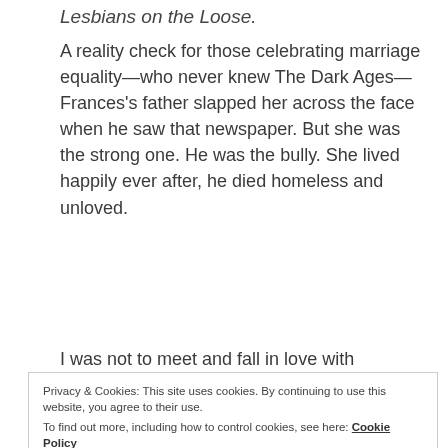Lesbians on the Loose.
A reality check for those celebrating marriage equality—who never knew The Dark Ages—Frances's father slapped her across the face when he saw that newspaper. But she was the strong one. He was the bully. She lived happily ever after, he died homeless and unloved.
I was not to meet and fall in love with
Privacy & Cookies: This site uses cookies. By continuing to use this website, you agree to their use.
To find out more, including how to control cookies, see here: Cookie Policy
Close and accept